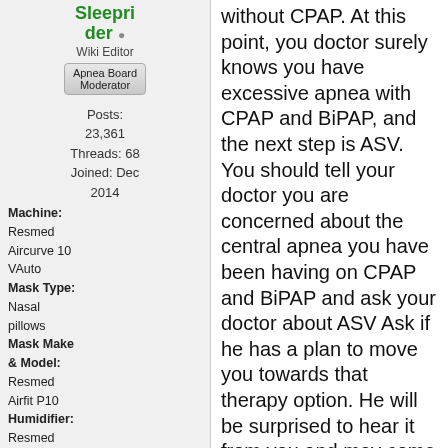[Figure (photo): Avatar photo of user Sleeprider showing a person in warm-toned clothing]
Sleeprider
Wiki Editor
Apnea Board Moderator
Posts: 23,361
Threads: 68
Joined: Dec 2014
Machine: Resmed Aircurve 10 VAuto
Mask Type: Nasal pillows
Mask Make & Model: Resmed Airfit P10
Humidifier: Resmed Climateline
CPAP
without CPAP. At this point, you doctor surely knows you have excessive apnea with CPAP and BiPAP, and the next step is ASV. You should tell your doctor you are concerned about the central apnea you have been having on CPAP and BiPAP and ask your doctor about ASV Ask if he has a plan to move you towards that therapy option. He will be surprised to hear it from you and may come clean as to what he suspects. The point of your conversation is to query your doctor's awareness and experience with complex and central apnea. Not all doctors have that experience or are comfortable with ASV therapy.
This link is the Resmed Sleep Lab Titration Guide and it describes the different kinds of machines and what they are intended to do. I want you to read about CPAP, bilevel (VPAP), and the advanced machines VPAP ST and ASV. This will give you a background to understand what is coming and more intellegently have a conversation with your doctor.
https://www.resmed.com/us/dam/documents/...er_